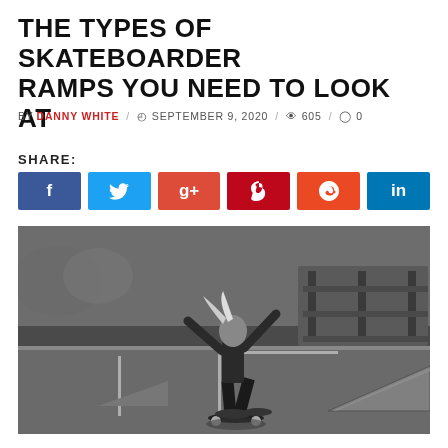THE TYPES OF SKATEBOARDER RAMPS YOU NEED TO LOOK AT
BY DANNY WHITE / September 9, 2020 / 605 / 0
SHARE:
[Figure (other): Social share buttons: Facebook, Twitter, Google+, Pinterest, StumbleUpon, LinkedIn]
[Figure (photo): Black and white photo of a skateboarder performing a trick at a skate park with ramps visible in the background]